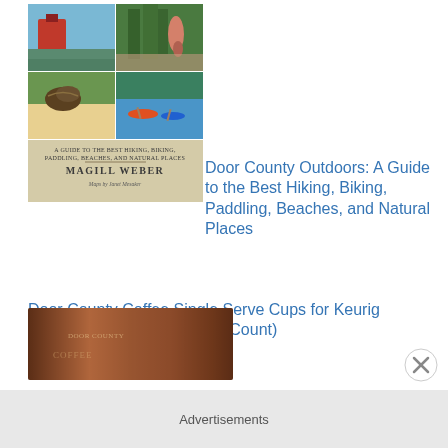[Figure (photo): Book cover of 'Door County Outdoors' by Magill Weber showing a collage of outdoor scenes including a red lighthouse, forest trail, bird, and kayakers on water, with subtitle 'A Guide to the Best Hiking, Biking, Paddling, Beaches, and Natural Places']
Door County Outdoors: A Guide to the Best Hiking, Biking, Paddling, Beaches, and Natural Places
Door County Coffee Single Serve Cups for Keurig Brewers (Almond Toffee, 12 Count)
[Figure (photo): Partial view of a brown book cover, bottom of page]
Advertisements